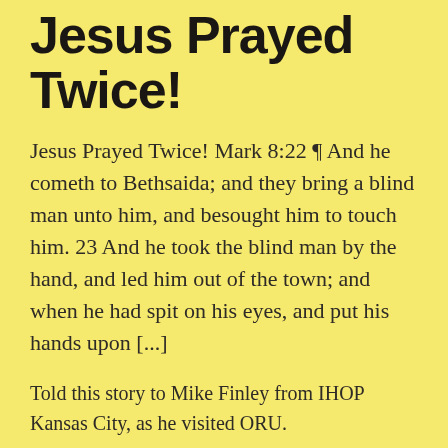Jesus Prayed Twice!
Jesus Prayed Twice! Mark 8:22 ¶ And he cometh to Bethsaida; and they bring a blind man unto him, and besought him to touch him. 23 And he took the blind man by the hand, and led him out of the town; and when he had spit on his eyes, and put his hands upon [...]
Told this story to Mike Finley from IHOP Kansas City, as he visited ORU.